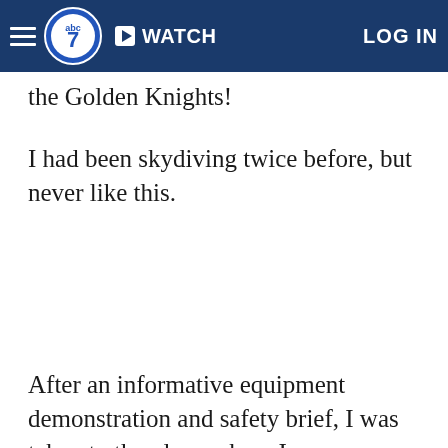abc7 | WATCH | LOG IN
the Golden Knights!
I had been skydiving twice before, but never like this.
After an informative equipment demonstration and safety brief, I was taken to the plane where I was